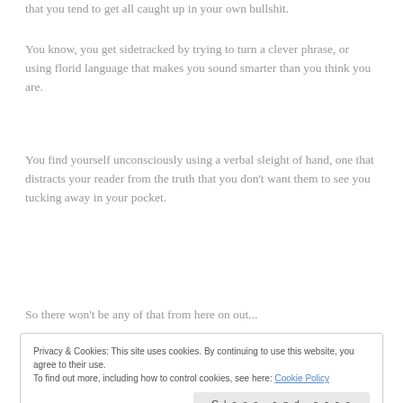that you tend to get all caught up in your own bullshit.
You know, you get sidetracked by trying to turn a clever phrase, or using florid language that makes you sound smarter than you think you are.
You find yourself unconsciously using a verbal sleight of hand, one that distracts your reader from the truth that you don't want them to see you tucking away in your pocket.
So there won't be any of that from here on out...
Privacy & Cookies: This site uses cookies. By continuing to use this website, you agree to their use.
To find out more, including how to control cookies, see here: Cookie Policy
Close and accept